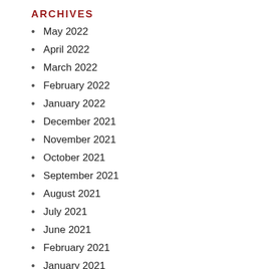ARCHIVES
May 2022
April 2022
March 2022
February 2022
January 2022
December 2021
November 2021
October 2021
September 2021
August 2021
July 2021
June 2021
February 2021
January 2021
November 2020